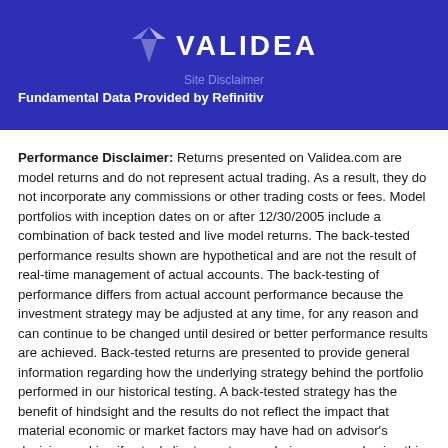[Figure (logo): Validea logo with blue chevron/V symbol and white VALIDEA text on dark blue banner background]
Site Disclaimer
Fundamental Data Provided by Refinitiv
Performance Disclaimer: Returns presented on Validea.com are model returns and do not represent actual trading. As a result, they do not incorporate any commissions or other trading costs or fees. Model portfolios with inception dates on or after 12/30/2005 include a combination of back tested and live model returns. The back-tested performance results shown are hypothetical and are not the result of real-time management of actual accounts. The back-testing of performance differs from actual account performance because the investment strategy may be adjusted at any time, for any reason and can continue to be changed until desired or better performance results are achieved. Back-tested returns are presented to provide general information regarding how the underlying strategy behind the portfolio performed in our historical testing. A back-tested strategy has the benefit of hindsight and the results do not reflect the impact that material economic or market factors may have had on advisor's decision-making if actual client assets were being managed using this approach. The model portfolios offered on